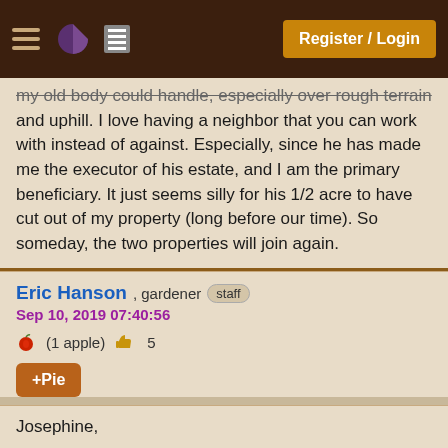Register / Login
my old body could handle, especially over rough terrain and uphill. I love having a neighbor that you can work with instead of against. Especially, since he has made me the executor of his estate, and I am the primary beneficiary. It just seems silly for his 1/2 acre to have cut out of my property (long before our time). So someday, the two properties will join again.
Eric Hanson , gardener staff
Sep 10, 2019 07:40:56
(1 apple) 5
+Pie
Josephine,

Nice!  I love the idea of two properties being made one again.  Sort of like real estate healing.

Also, it certainly is nice to have access to a huge supply